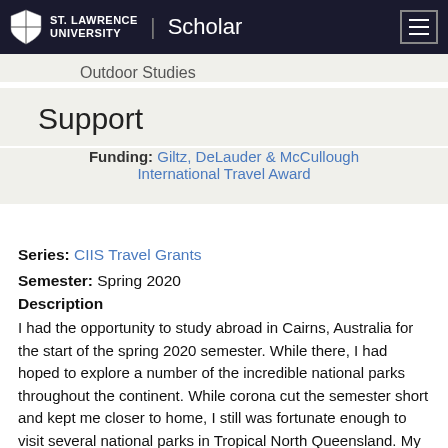ST. LAWRENCE UNIVERSITY | Scholar
Outdoor Studies
Support
Funding: Giltz, DeLauder & McCullough International Travel Award
Series: CIIS Travel Grants
Semester: Spring 2020
Description
I had the opportunity to study abroad in Cairns, Australia for the start of the spring 2020 semester. While there, I had hoped to explore a number of the incredible national parks throughout the continent. While corona cut the semester short and kept me closer to home, I still was fortunate enough to visit several national parks in Tropical North Queensland. My hope with this project was to explore